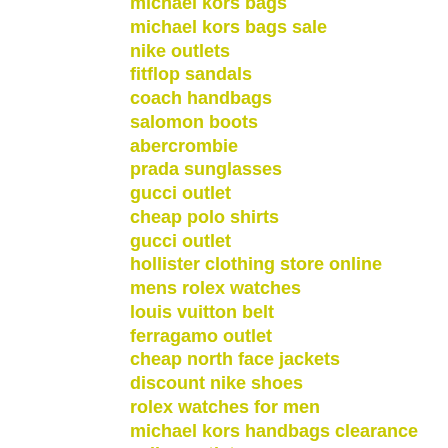michael kors bags
michael kors bags sale
nike outlets
fitflop sandals
coach handbags
salomon boots
abercrombie
prada sunglasses
gucci outlet
cheap polo shirts
gucci outlet
hollister clothing store online
mens rolex watches
louis vuitton belt
ferragamo outlet
cheap north face jackets
discount nike shoes
rolex watches for men
michael kors handbags clearance
celine outlet
nike nfl jerseys 2015
louboutin shoes
timberland shoes